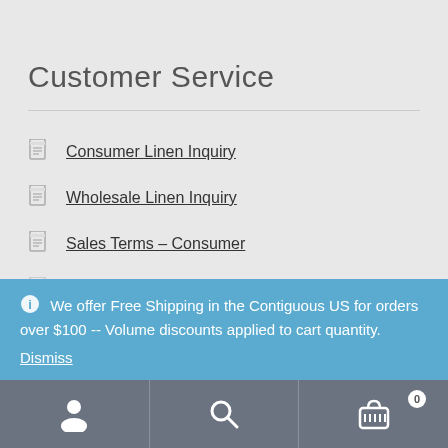Customer Service
Consumer Linen Inquiry
Wholesale Linen Inquiry
Sales Terms – Consumer
Return and Refund Policy
We offer Free Shipping in the Contiguous US for orders over $100 -- Volume discounts applied to cart quantity. Dismiss